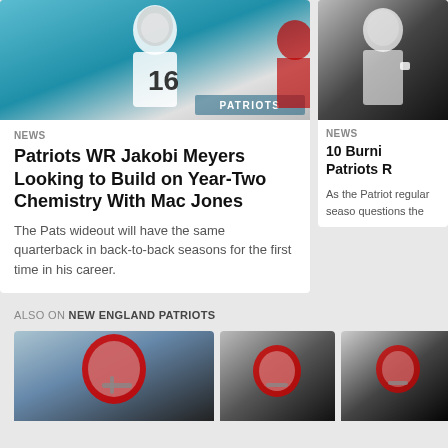[Figure (photo): Football player wearing jersey #16 with teal Dolphins/Patriots background and PATRIOTS watermark]
NEWS
Patriots WR Jakobi Meyers Looking to Build on Year-Two Chemistry With Mac Jones
The Pats wideout will have the same quarterback in back-to-back seasons for the first time in his career.
[Figure (photo): Patriots player photo cropped on right side]
NEWS
10 Burning Patriots R
As the Patriots regular season questions the
ALSO ON NEW ENGLAND PATRIOTS
[Figure (photo): Patriots player in red helmet]
[Figure (photo): Patriots player celebrating]
[Figure (photo): Patriots player action shot]